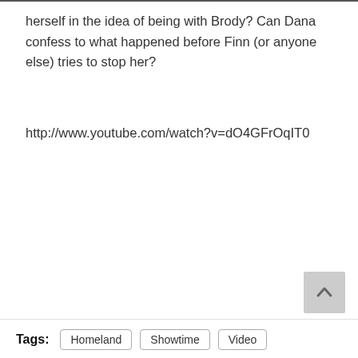herself in the idea of being with Brody? Can Dana confess to what happened before Finn (or anyone else) tries to stop her?
http://www.youtube.com/watch?v=dO4GFrOqIT0
Tags: Homeland Showtime Video